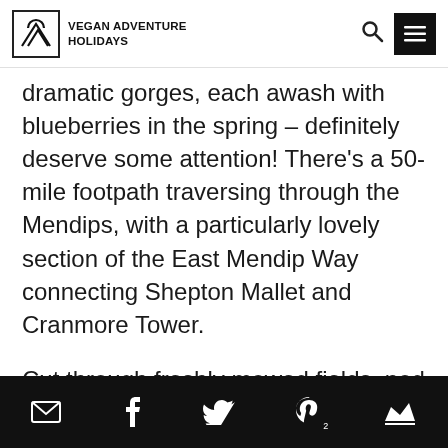VEGAN ADVENTURE HOLIDAYS
dramatic gorges, each awash with blueberries in the spring – definitely deserve some attention! There's a 50-mile footpath traversing through the Mendips, with a particularly lovely section of the East Mendip Way connecting Shepton Mallet and Cranmore Tower.

Cut through freshly mowed fields, nod to passers-by on the route's dusty, tree-lined tracks, and let your thoughts take a moment to still as you enjoy this peaceful
Social share icons: email, facebook, twitter, pinterest (2), crown